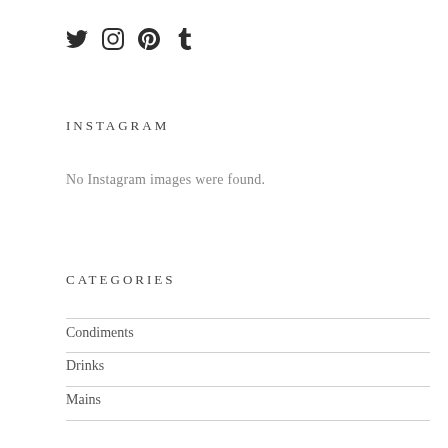[Figure (infographic): Social media icons: Twitter bird, Instagram camera, Pinterest P, Tumblr t]
INSTAGRAM
No Instagram images were found.
CATEGORIES
Condiments
Drinks
Mains